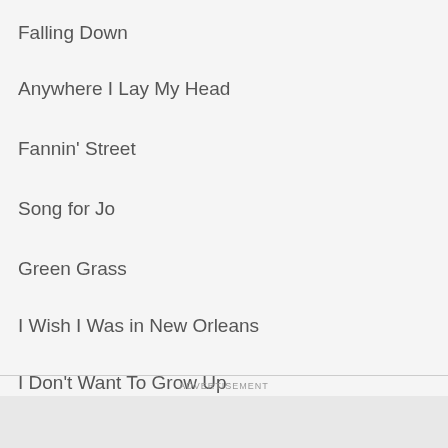Falling Down
Anywhere I Lay My Head
Fannin' Street
Song for Jo
Green Grass
I Wish I Was in New Orleans
I Don't Want To Grow Up
ADVERTISEMENT